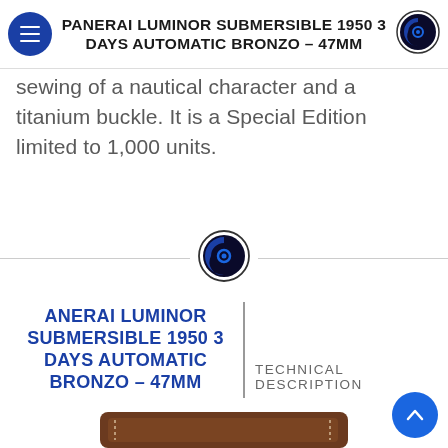PANERAI LUMINOR SUBMERSIBLE 1950 3 DAYS AUTOMATIC BRONZO – 47MM
sewing of a nautical character and a titanium buckle. It is a Special Edition limited to 1,000 units.
[Figure (logo): Circular logo with crescent moon and ring design in dark blue]
ANERAI LUMINOR SUBMERSIBLE 1950 3 DAYS AUTOMATIC BRONZO – 47MM TECHNICAL DESCRIPTION
[Figure (photo): Close-up photo of a brown leather watch strap with cream stitching and a stamped arrow logo, on bronze lugs]